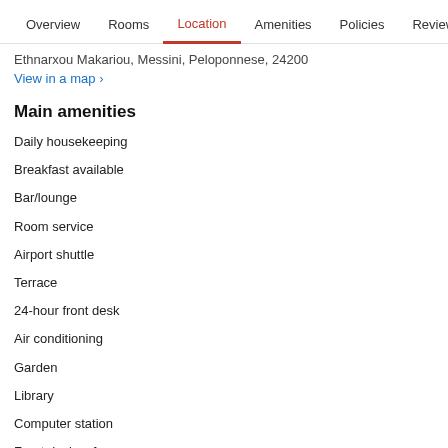Overview  Rooms  Location  Amenities  Policies  Reviews
Ethnarxou Makariou, Messini, Peloponnese, 24200
View in a map >
Main amenities
Daily housekeeping
Breakfast available
Bar/lounge
Room service
Airport shuttle
Terrace
24-hour front desk
Air conditioning
Garden
Library
Computer station
Front desk safe